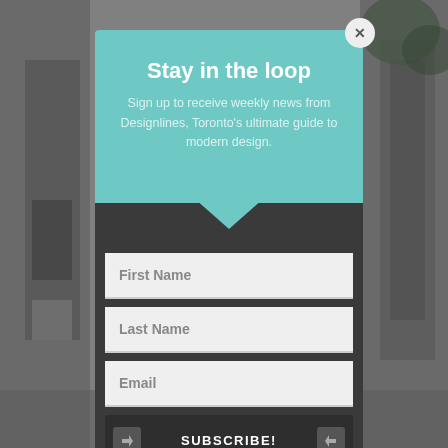[Figure (screenshot): Background blurred photo of a modern architectural exterior in grayscale]
Stay in the loop
Sign up to receive weekly news from Designlines, Toronto's ultimate guide to modern design.
First Name
Last Name
Email
SUBSCRIBE!